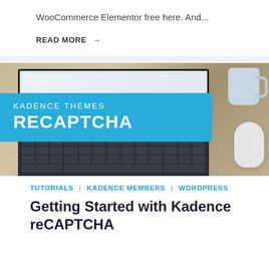WooCommerce Elementor free here. And...
READ MORE →
[Figure (photo): Promotional image showing a laptop with keyboard, a coffee cup, and a mouse on a wooden desk. A blue banner overlay reads 'KADENCE THEMES RECAPTCHA'.]
TUTORIALS | KADENCE MEMBERS | WORDPRESS
Getting Started with Kadence reCAPTCHA